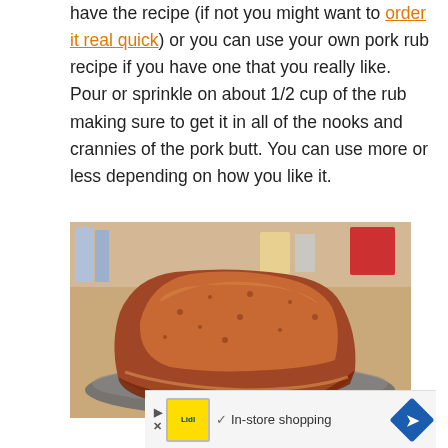have the recipe (if not you might want to order it real quick) or you can use your own pork rub recipe if you have one that you really like. Pour or sprinkle on about 1/2 cup of the rub making sure to get it in all of the nooks and crannies of the pork butt. You can use more or less depending on how you like it.
[Figure (photo): A pork butt coated with dry rub seasoning, sitting on a round metal tray on a kitchen counter.]
In-store shopping (advertisement banner with Lidl logo)